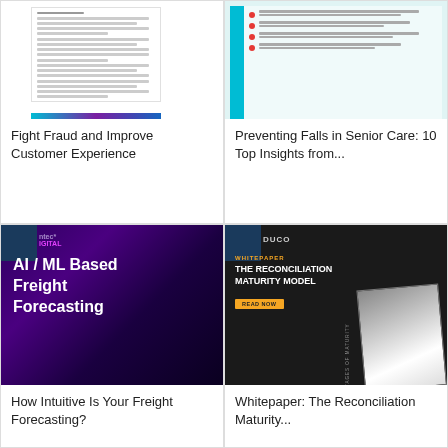[Figure (illustration): Thumbnail of a document about protecting customers from fraud with a gradient bar at the bottom]
Fight Fraud and Improve Customer Experience
[Figure (illustration): Thumbnail of a document about preventing falls in senior care with a teal sidebar and red bullet points]
Preventing Falls in Senior Care: 10 Top Insights from...
[Figure (illustration): Dark purple promotional graphic for AI/ML Based Freight Forecasting with Antec Digital logo]
How Intuitive Is Your Freight Forecasting?
[Figure (illustration): Dark promotional whitepaper cover for The Reconciliation Maturity Model by DUCO with document images]
Whitepaper: The Reconciliation Maturity...